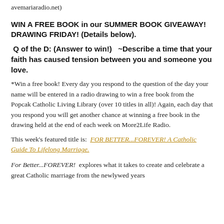avemariaradio.net)
WIN A FREE BOOK in our SUMMER BOOK GIVEAWAY!  DRAWING FRIDAY! (Details below).
Q of the D:  (Answer to win!)   ~Describe a time that your faith has caused tension between you and someone you love.
*Win a free book!  Every day you respond to the question of the day your name will be entered in a radio drawing to win a free book from the Popcak Catholic Living Library (over 10 titles in all)!  Again, each day that you respond you will get another chance at winning a free book in the drawing held at the end of each week on More2Life Radio.
This week's featured title is:  FOR BETTER...FOREVER! A Catholic Guide To Lifelong Marriage.
For Better...FOREVER!  explores what it takes to create and celebrate a great Catholic marriage from the newlywed years